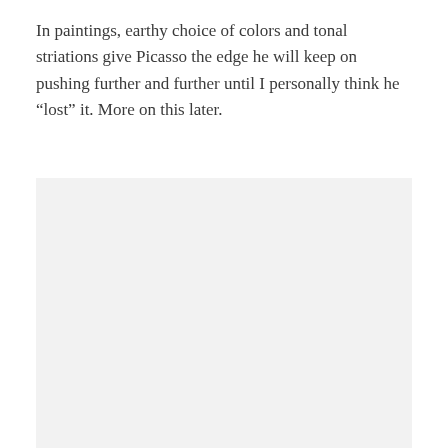In paintings, earthy choice of colors and tonal striations give Picasso the edge he will keep on pushing further and further until I personally think he “lost” it. More on this later.
[Figure (photo): A large light gray placeholder image region occupying the lower portion of the page.]